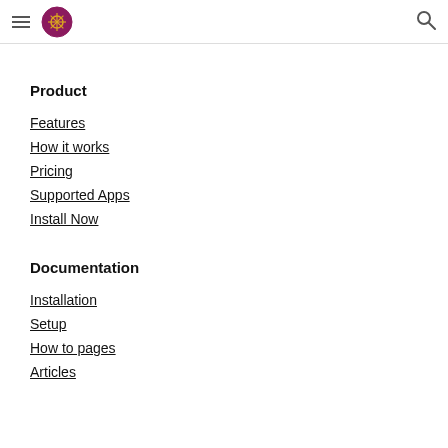Navigation header with logo and search icon
Product
Features
How it works
Pricing
Supported Apps
Install Now
Documentation
Installation
Setup
How to pages
Articles